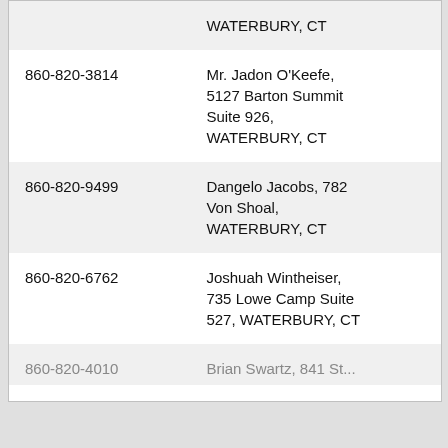| Phone | Name / Address |
| --- | --- |
|  | WATERBURY, CT |
| 860-820-3814 | Mr. Jadon O'Keefe, 5127 Barton Summit Suite 926, WATERBURY, CT |
| 860-820-9499 | Dangelo Jacobs, 782 Von Shoal, WATERBURY, CT |
| 860-820-6762 | Joshuah Wintheiser, 735 Lowe Camp Suite 527, WATERBURY, CT |
| 860-820-4010 | Brian Swartz, 841 St... |